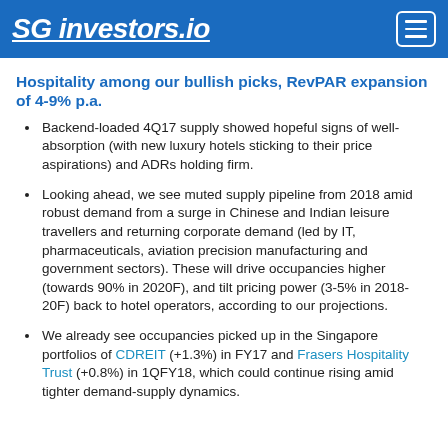SG investors.io
Hospitality among our bullish picks, RevPAR expansion of 4-9% p.a.
Backend-loaded 4Q17 supply showed hopeful signs of well-absorption (with new luxury hotels sticking to their price aspirations) and ADRs holding firm.
Looking ahead, we see muted supply pipeline from 2018 amid robust demand from a surge in Chinese and Indian leisure travellers and returning corporate demand (led by IT, pharmaceuticals, aviation precision manufacturing and government sectors). These will drive occupancies higher (towards 90% in 2020F), and tilt pricing power (3-5% in 2018-20F) back to hotel operators, according to our projections.
We already see occupancies picked up in the Singapore portfolios of CDREIT (+1.3%) in FY17 and Frasers Hospitality Trust (+0.8%) in 1QFY18, which could continue rising amid tighter demand-supply dynamics.